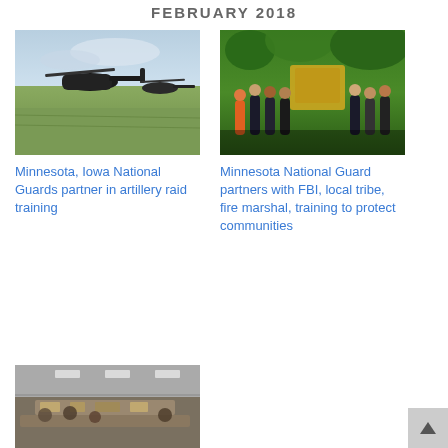FEBRUARY 2018
[Figure (photo): Military helicopter in flight over field]
Minnesota, Iowa National Guards partner in artillery raid training
[Figure (photo): Group of people standing outdoors under trees]
Minnesota National Guard partners with FBI, local tribe, fire marshal, training to protect communities
[Figure (photo): Indoor room or facility with equipment and people]